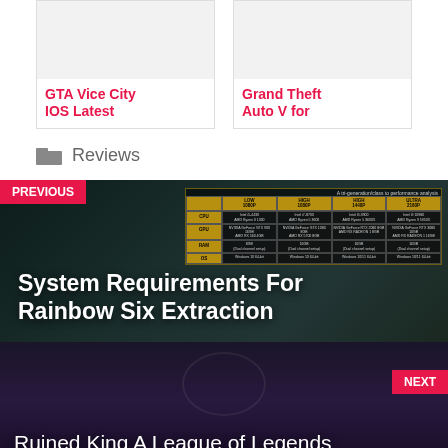[Figure (other): Card thumbnail placeholder for GTA Vice City IOS Latest]
GTA Vice City IOS Latest
[Figure (other): Card thumbnail placeholder for Grand Theft Auto V for]
Grand Theft Auto V for
Reviews
[Figure (other): Previous post navigation block with system requirements table overlay for Rainbow Six Extraction]
System Requirements For Rainbow Six Extraction
[Figure (other): Next post navigation block with dark fantasy background for Ruined King A League of Legends]
Ruined King A League of Legends